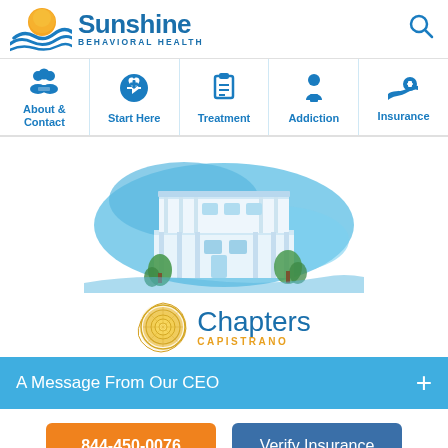[Figure (logo): Sunshine Behavioral Health logo with sun and waves icon, blue text]
[Figure (illustration): Navigation bar with icons: About & Contact, Start Here, Treatment, Addiction, Insurance]
[Figure (illustration): Blue blob shape containing illustration of a white multi-story building with porches and tropical plants]
[Figure (logo): Chapters Capistrano logo with golden nautilus shell icon and blue text]
A Message From Our CEO
844-450-0076
Verify Insurance